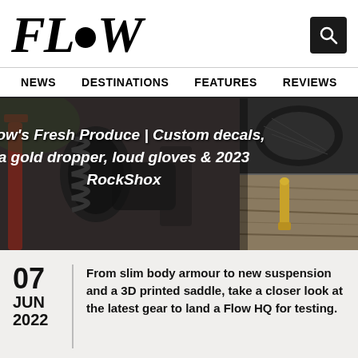FLOW
NEWS  DESTINATIONS  FEATURES  REVIEWS
[Figure (photo): Hero image collage: close-up of a RockShox rear suspension coil on a red mountain bike frame (left/main), a black foam-wrapped handlebar grip (top right), and a gold bullet/dropper post component on wood (bottom right). White bold italic overlay text reads: Flow's Fresh Produce | Custom decals, a gold dropper, loud gloves & 2023 RockShox]
07 JUN 2022
From slim body armour to new suspension and a 3D printed saddle, take a closer look at the latest gear to land a Flow HQ for testing.